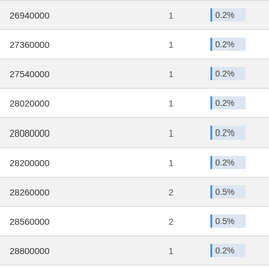| 26940000 | 1 | 0.2% |
| 27360000 | 1 | 0.2% |
| 27540000 | 1 | 0.2% |
| 28020000 | 1 | 0.2% |
| 28080000 | 1 | 0.2% |
| 28200000 | 1 | 0.2% |
| 28260000 | 2 | 0.5% |
| 28560000 | 2 | 0.5% |
| 28800000 | 1 | 0.2% |